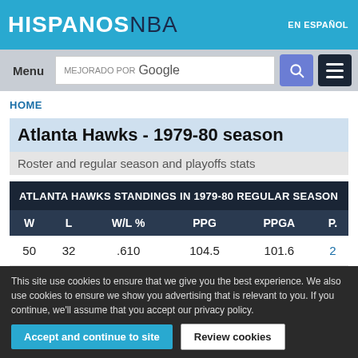HISPANOS NBA — EN ESPAÑOL
Menu | MEJORADO POR Google
HOME
Atlanta Hawks - 1979-80 season
Roster and regular season and playoffs stats
| W | L | W/L % | PPG | PPGA | P. |
| --- | --- | --- | --- | --- | --- |
| 50 | 32 | .610 | 104.5 | 101.6 | 2 |
This site use cookies to ensure that we give you the best experience. We also use cookies to ensure we show you advertising that is relevant to you. If you continue, we'll assume that you accept our privacy policy.
Accept and continue to site | Review cookies